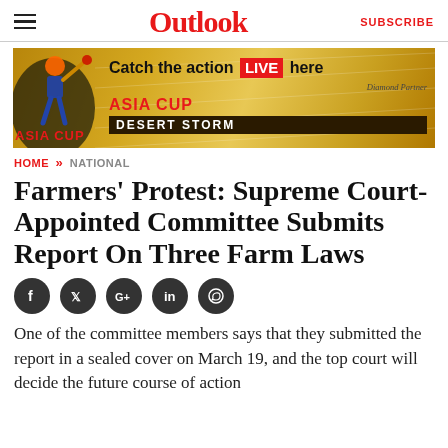Outlook | SUBSCRIBE
[Figure (illustration): Asia Cup Desert Storm advertisement banner with cricket player imagery. Text reads: Catch the action LIVE here, ASIA CUP, DESERT STORM, Diamond Partner.]
HOME » NATIONAL
Farmers' Protest: Supreme Court-Appointed Committee Submits Report On Three Farm Laws
[Figure (infographic): Social sharing icons: Facebook, Twitter, Google+, LinkedIn, WhatsApp]
One of the committee members says that they submitted the report in a sealed cover on March 19, and the top court will decide the future course of action